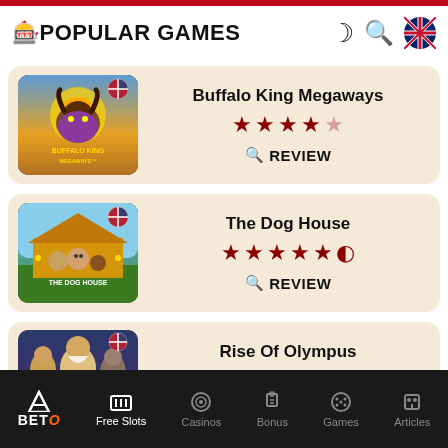POPULAR GAMES
[Figure (screenshot): Buffalo King Megaways game thumbnail with US flag badge]
Buffalo King Megaways — 4 stars out of 5 — REVIEW
[Figure (screenshot): The Dog House game thumbnail with US flag badge]
The Dog House — 4.5 stars out of 5 — REVIEW
[Figure (screenshot): Rise Of Olympus game thumbnail with US flag badge]
Rise Of Olympus — 4 stars out of 5
BETO | Free Slots | Casinos | Bonus | Games | Articles